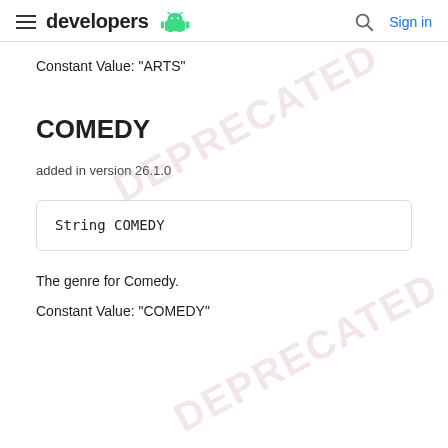developers  Sign in
Constant Value: "ARTS"
COMEDY
added in version 26.1.0
String COMEDY
The genre for Comedy.
Constant Value: "COMEDY"